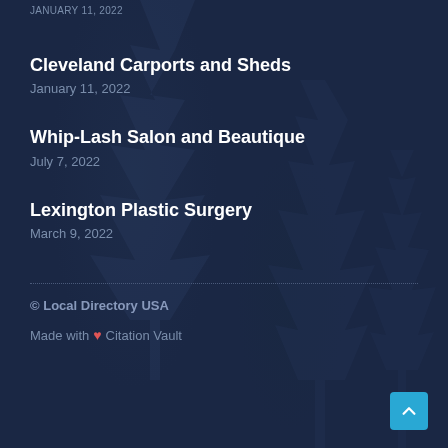Cleveland Carports and Sheds
January 11, 2022
Whip-Lash Salon and Beautique
July 7, 2022
Lexington Plastic Surgery
March 9, 2022
© Local Directory USA
Made with ❤ Citation Vault